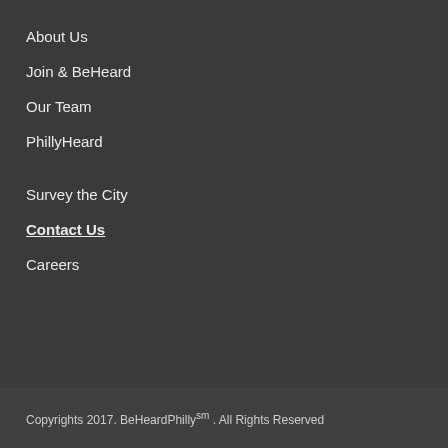About Us
Join & BeHeard
Our Team
PhillyHeard
Survey the City
Contact Us
Careers
Copyrights 2017. BeHeardPhillysm . All Rights Reserved